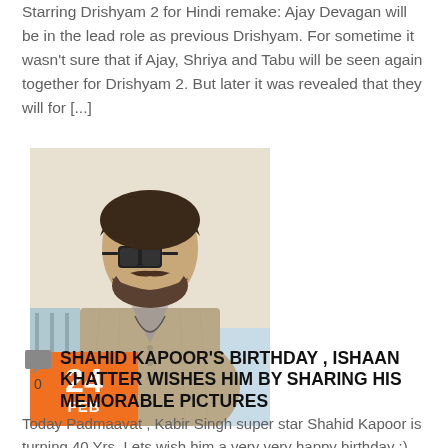Starring Drishyam 2 for Hindi remake: Ajay Devagan will be in the lead role as previous Drishyam. For sometime it wasn't sure that if Ajay, Shriya and Tabu will be seen again together for Drishyam 2. But later it was revealed that they will for [...]
[Figure (photo): Man with sunglasses and a beard wearing a beige linen shirt, standing outdoors. Orange date badge overlay in bottom-left corner showing '24 FEB'.]
SHAHID KAPOOR'S BIRTHDAY , ISHAAN KHATTER WISHES HIM BY SHARING HIS MEMORABLE PICTURES
Today Padmaavat , Kabir Singh super star Shahid Kapoor is turning 40 Yrs. Lets wish him a very very happy birthday :). His fans have already